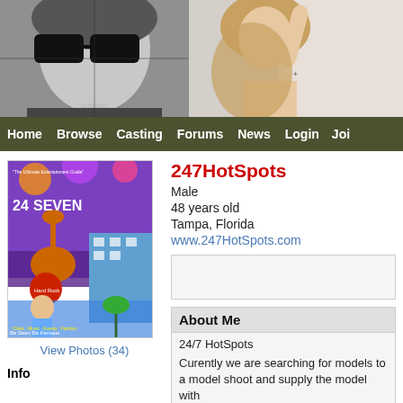[Figure (photo): Website header banner with black-and-white photo of woman with sunglasses on left and color photo of woman with raised arm on right]
Home  Browse  Casting  Forums  News  Login  Join
[Figure (photo): 24/Seven entertainment guide magazine cover with nightclub and Hard Rock Hotel imagery, woman in bikini sash]
View Photos (34)
Info
247HotSpots
Male
48 years old
Tampa, Florida
www.247HotSpots.com
About Me
24/7 HotSpots
Curently we are searching for models to a model shoot and supply the model with